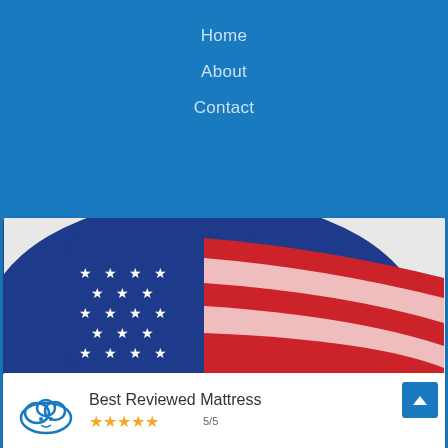Home
About
Contact
[Figure (infographic): Bear Mattress advertisement featuring an American flag image in the upper half, bold dark blue text 'Honoring Those Who Serve', red text '15% off every day for our military members.' and the BEAR logo with bearmattress.com]
[Figure (illustration): Partial bottom section showing a cloud icon and 'Best Reviewed Mattress' text with star rating]